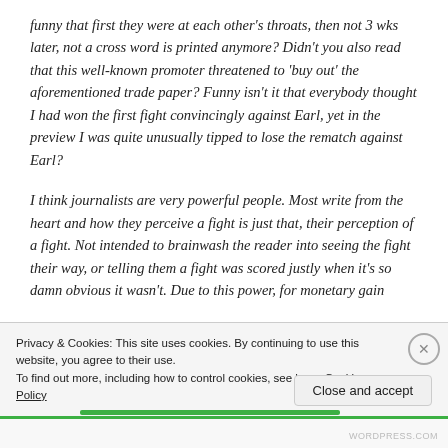funny that first they were at each other's throats, then not 3 wks later, not a cross word is printed anymore? Didn't you also read that this well-known promoter threatened to 'buy out' the aforementioned trade paper? Funny isn't it that everybody thought I had won the first fight convincingly against Earl, yet in the preview I was quite unusually tipped to lose the rematch against Earl?
I think journalists are very powerful people. Most write from the heart and how they perceive a fight is just that, their perception of a fight. Not intended to brainwash the reader into seeing the fight their way, or telling them a fight was scored justly when it's so damn obvious it wasn't. Due to this power, for monetary gain
Privacy & Cookies: This site uses cookies. By continuing to use this website, you agree to their use.
To find out more, including how to control cookies, see here: Cookie Policy
WORDPRESS.COM